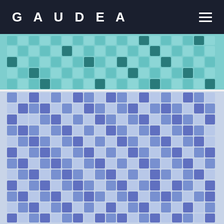GAUDEA
[Figure (photo): Mosaic tile pattern in teal and dark green colors arranged in a decorative border strip]
[Figure (photo): Mosaic tile pattern in blue and light blue/lavender colors arranged in a large grid pattern]